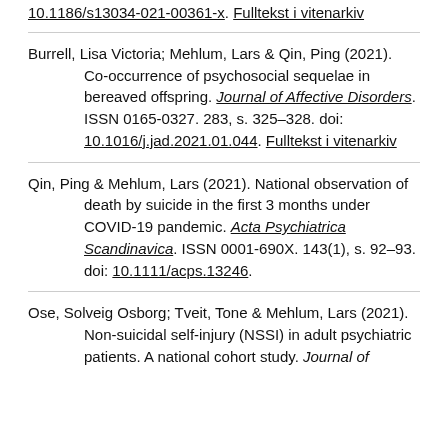10.1186/s13034-021-00361-x. Fulltekst i vitenarkiv
Burrell, Lisa Victoria; Mehlum, Lars & Qin, Ping (2021). Co-occurrence of psychosocial sequelae in bereaved offspring. Journal of Affective Disorders. ISSN 0165-0327. 283, s. 325–328. doi: 10.1016/j.jad.2021.01.044. Fulltekst i vitenarkiv
Qin, Ping & Mehlum, Lars (2021). National observation of death by suicide in the first 3 months under COVID-19 pandemic. Acta Psychiatrica Scandinavica. ISSN 0001-690X. 143(1), s. 92–93. doi: 10.1111/acps.13246.
Ose, Solveig Osborg; Tveit, Tone & Mehlum, Lars (2021). Non-suicidal self-injury (NSSI) in adult psychiatric patients. A national cohort study. Journal of ...